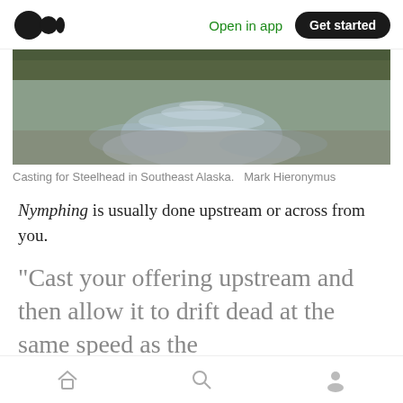Open in app   Get started
[Figure (photo): A river scene with shallow water flowing over rocks and gravel, surrounded by trees. Casting for Steelhead in Southeast Alaska.]
Casting for Steelhead in Southeast Alaska.   Mark Hieronymus
Nymphing is usually done upstream or across from you.
“Cast your offering upstream and then allow it to drift dead at the same speed as the
Home  Search  Profile